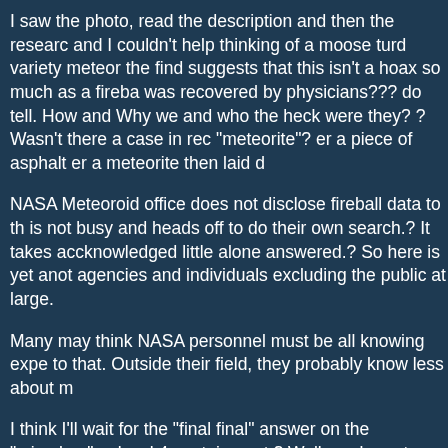I saw the photo, read the description and then the research and I couldn't help thinking of a moose turd variety meteor the find suggests that this isn't a hoax so much as a fireba was recovered by physicians??? do tell. How and Why we and who the heck were they? ? Wasn't there a case in rec "meteorite"? er a piece of asphalt er a meteorite then laid d
NASA Meteoroid office does not disclose fireball data to th is not busy and heads off to do their own search.? It takes accknowledged little alone answered.? So here is yet anot agencies and individuals excluding the public at large.
Many may think NASA personnel must be all knowing expe to that. Outside their field, they probably know less about m
I think I'll wait for the "final final" answer on the "microbes". a level 4 containment.? Well maybe not as there isn't much However there is a protocol and facility in place.?
That said, if we hear of zombies crossing the US Canadian wave them through thinking they are more dead voters tha